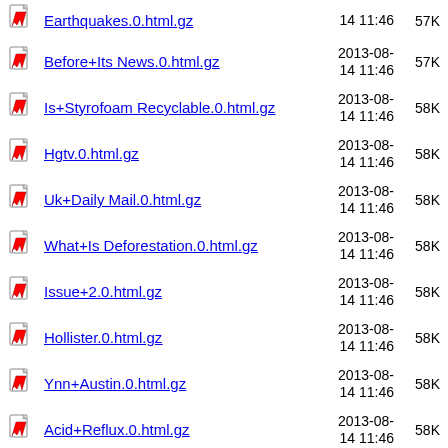Earthquakes.0.html.gz  2013-08-14 11:46  57K
Before+Its News.0.html.gz  2013-08-14 11:46  57K
Is+Styrofoam Recyclable.0.html.gz  2013-08-14 11:46  58K
Hgtv.0.html.gz  2013-08-14 11:46  58K
Uk+Daily Mail.0.html.gz  2013-08-14 11:46  58K
What+Is Deforestation.0.html.gz  2013-08-14 11:46  58K
Issue+2.0.html.gz  2013-08-14 11:46  58K
Hollister.0.html.gz  2013-08-14 11:46  58K
Ynn+Austin.0.html.gz  2013-08-14 11:46  58K
Acid+Reflux.0.html.gz  2013-08-14 11:46  58K
Reno+Gazette.0.html.gz  2013-08-14 11:46  59K
Morning+Sickness.0.html.gz  2013-08-14 11:46  59K